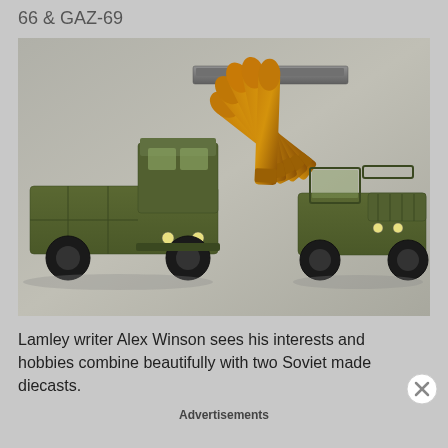66 & GAZ-69
[Figure (photo): Two olive green Soviet military diecast toy vehicles - a GAZ-66 truck on the left and a GAZ-69 jeep on the right - photographed on a concrete surface alongside five large copper-colored rifle bullets in a stripper clip.]
Lamley writer Alex Winson sees his interests and hobbies combine beautifully with two Soviet made diecasts.
Advertisements